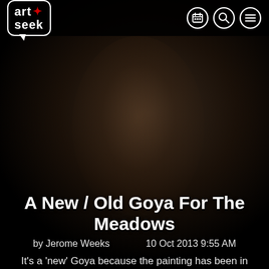[Figure (screenshot): ArtSeek website screenshot showing a dark background with a portrait photograph of a person, the ArtSeek logo in the top-left, navigation icons (calendar, search, menu) in the top-right, article title, byline, and excerpt text.]
art+seek
A New / Old Goya For The Meadows
by Jerome Weeks    10 Oct 2013 9:55 AM
It’s a ‘new’ Goya because the painting has been in private hands, unseen by the public, since the ’50s. But it’s an ‘old’ Goya because the artist painted it only months before he died in 1828.